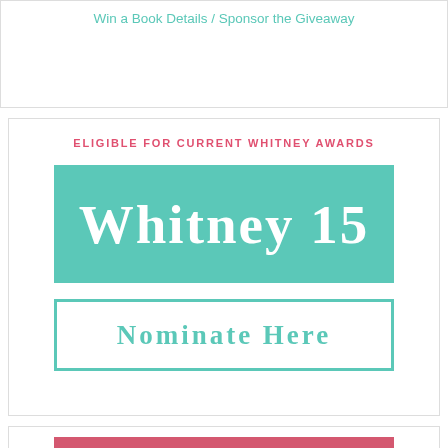Win a Book Details / Sponsor the Giveaway
ELIGIBLE FOR CURRENT WHITNEY AWARDS
[Figure (illustration): Teal/green rectangular badge with white bold text reading 'Whitney 15']
[Figure (illustration): White rectangular button with teal border and teal text reading 'Nominate Here']
[Figure (illustration): Pink/rose rectangular badge with white bold text reading 'Newsletter']